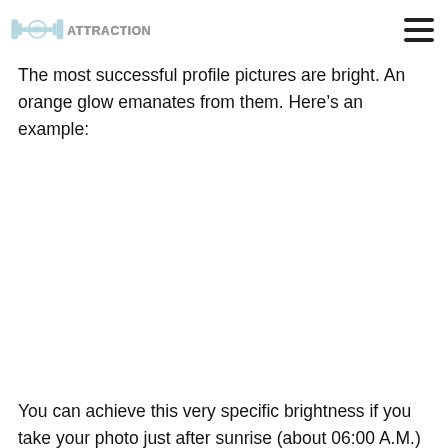ATTRACTIONGYM
The most successful profile pictures are bright. An orange glow emanates from them. Here’s an example:
[Figure (photo): Blank/white placeholder area for an example profile picture showing bright orange glow lighting]
You can achieve this very specific brightness if you take your photo just after sunrise (about 06:00 A.M.) or before sunset